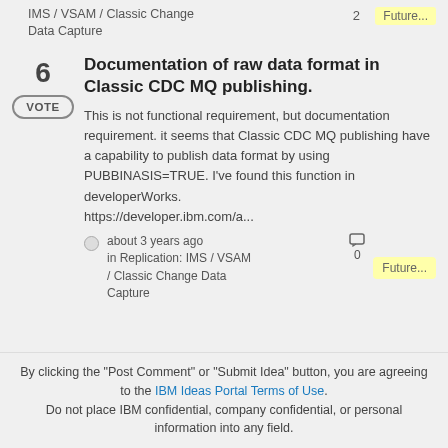IMS / VSAM / Classic Change Data Capture  2  Future...
6  VOTE  Documentation of raw data format in Classic CDC MQ publishing.
This is not functional requirement, but documentation requirement. it seems that Classic CDC MQ publishing have a capability to publish data format by using PUBBINASIS=TRUE. I've found this function in developerWorks.
https://developer.ibm.com/a...
about 3 years ago in Replication: IMS / VSAM / Classic Change Data Capture  0  Future...
By clicking the "Post Comment" or "Submit Idea" button, you are agreeing to the IBM Ideas Portal Terms of Use. Do not place IBM confidential, company confidential, or personal information into any field.